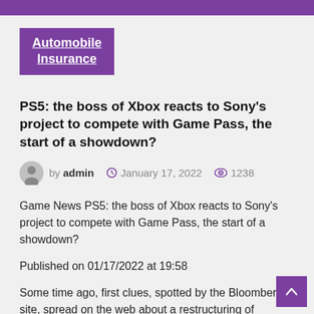Automobile Insurance
PS5: the boss of Xbox reacts to Sony's project to compete with Game Pass, the start of a showdown?
by admin   January 17, 2022   1238
Game News PS5: the boss of Xbox reacts to Sony's project to compete with Game Pass, the start of a showdown?
Published on 01/17/2022 at 19:58
Some time ago, first clues, spotted by the Bloomberg site, spread on the web about a restructuring of PlayStation Now and PlayStation Plus, services offered by Sony. Internally, this "Spartacus" project is seen as a sort of